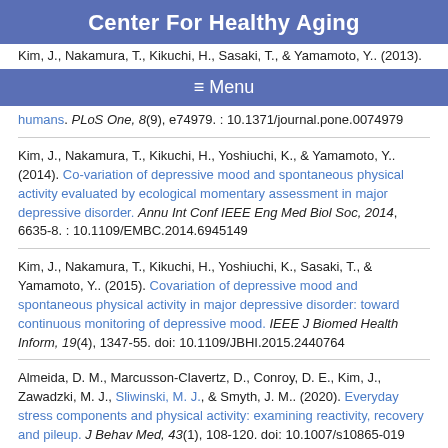Center For Healthy Aging
Kim, J., Nakamura, T., Kikuchi, H., Sasaki, T., & Yamamoto, Y.. (2013).
≡ Menu
humans. PLoS One, 8(9), e74979. : 10.1371/journal.pone.0074979
Kim, J., Nakamura, T., Kikuchi, H., Yoshiuchi, K., & Yamamoto, Y.. (2014). Co-variation of depressive mood and spontaneous physical activity evaluated by ecological momentary assessment in major depressive disorder. Annu Int Conf IEEE Eng Med Biol Soc, 2014, 6635-8. : 10.1109/EMBC.2014.6945149
Kim, J., Nakamura, T., Kikuchi, H., Yoshiuchi, K., Sasaki, T., & Yamamoto, Y.. (2015). Covariation of depressive mood and spontaneous physical activity in major depressive disorder: toward continuous monitoring of depressive mood. IEEE J Biomed Health Inform, 19(4), 1347-55. doi: 10.1109/JBHI.2015.2440764
Almeida, D. M., Marcusson-Clavertz, D., Conroy, D. E., Kim, J., Zawadzki, M. J., Sliwinski, M. J., & Smyth, J. M.. (2020). Everyday stress components and physical activity: examining reactivity, recovery and pileup. J Behav Med, 43(1), 108-120. doi: 10.1007/s10865-019